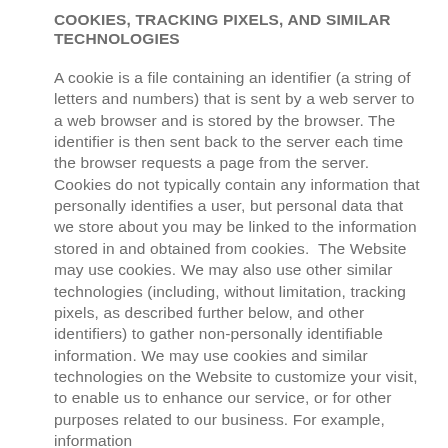COOKIES, TRACKING PIXELS, AND SIMILAR TECHNOLOGIES
A cookie is a file containing an identifier (a string of letters and numbers) that is sent by a web server to a web browser and is stored by the browser. The identifier is then sent back to the server each time the browser requests a page from the server. Cookies do not typically contain any information that personally identifies a user, but personal data that we store about you may be linked to the information stored in and obtained from cookies.  The Website may use cookies. We may also use other similar technologies (including, without limitation, tracking pixels, as described further below, and other identifiers) to gather non-personally identifiable information. We may use cookies and similar technologies on the Website to customize your visit, to enable us to enhance our service, or for other purposes related to our business. For example, information